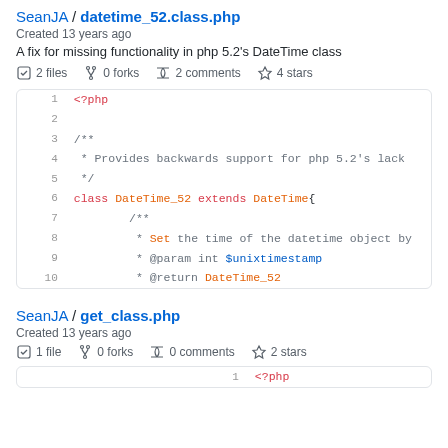SeanJA / datetime_52.class.php
Created 13 years ago
A fix for missing functionality in php 5.2's DateTime class
2 files  0 forks  2 comments  4 stars
[Figure (screenshot): PHP code snippet showing lines 1-10 of datetime_52.class.php with syntax highlighting. Line 1: <?php, Line 3: /**, Line 4:  * Provides backwards support for php 5.2's lack, Line 5:  */, Line 6: class DateTime_52 extends DateTime{, Line 7:  /**, Line 8:  * Set the time of the datetime object by, Line 9:  * @param int $unixtimestamp, Line 10:  * @return DateTime_52]
SeanJA / get_class.php
Created 13 years ago
1 file  0 forks  0 comments  2 stars
[Figure (screenshot): PHP code snippet showing line 1: <?php]